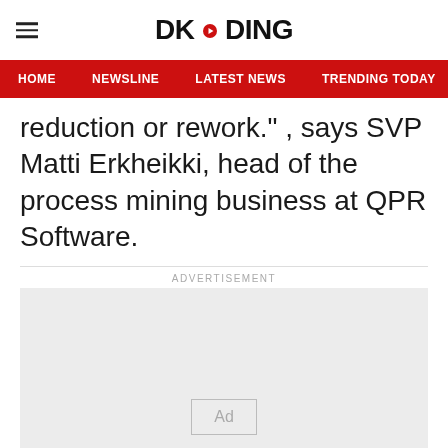DKODING
HOME  NEWSLINE  LATEST NEWS  TRENDING TODAY  ENT
reduction or rework." , says SVP Matti Erkheikki, head of the process mining business at QPR Software.
ADVERTISEMENT
[Figure (other): Advertisement placeholder box with 'Ad' label in center]